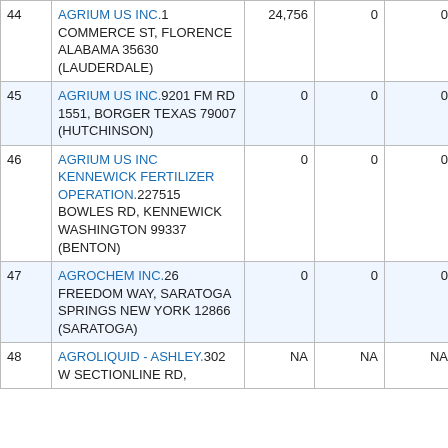| # | Facility | Col3 | Col4 | Col5 | Col6 |
| --- | --- | --- | --- | --- | --- |
| 44 | AGRIUM US INC.1 COMMERCE ST, FLORENCE ALABAMA 35630 (LAUDERDALE) | 24,756 | 0 | 0 | 0 |
| 45 | AGRIUM US INC.9201 FM RD 1551, BORGER TEXAS 79007 (HUTCHINSON) | 0 | 0 | 0 | 0 |
| 46 | AGRIUM US INC KENNEWICK FERTILIZER OPERATION.227515 BOWLES RD, KENNEWICK WASHINGTON 99337 (BENTON) | 0 | 0 | 0 | 0 |
| 47 | AGROCHEM INC.26 FREEDOM WAY, SARATOGA SPRINGS NEW YORK 12866 (SARATOGA) | 0 | 0 | 0 | 0 |
| 48 | AGROLIQUID - ASHLEY.302 W SECTIONLINE RD, | NA | NA | NA | NA |